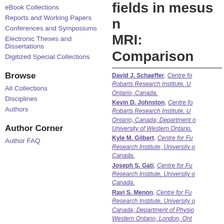eBook Collections
Reports and Working Papers
Conferences and Symposiums
Electronic Theses and Dissertations
Digitized Special Collections
Browse
All Collections
Disciplines
Authors
Author Corner
Author FAQ
fields in mesus n... MRI: Comparison
David J. Schaeffer, Centre fo... Robarts Research Institute, U... Ontario, Canada.
Kevin D. Johnston, Centre fo... Robarts Research Institute, U... Ontario, Canada; Department o... University of Western Ontario,...
Kyle M. Gilbert, Centre for Fu... Research Institute, University o... Canada.
Joseph S. Gati, Centre for Fu... Research Institute, University o... Canada.
Ravi S. Menon, Centre for Fu... Research Institute, University o... Canada; Department of Physio... Western Ontario, London, Ont...
Stefan Everling, Centre for Fu... Robarts Research Institute, U... Ontario, Canada; Department o... University of Western Ontario,... address: severlin@uwo.ca.